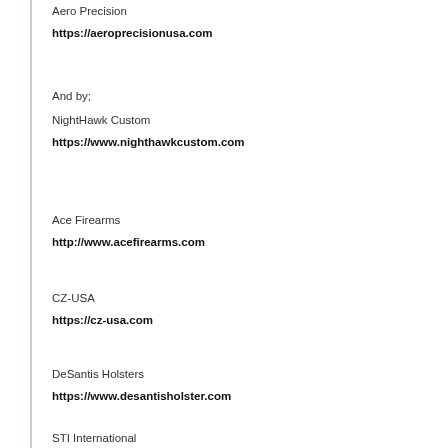Aero Precision
https://aeroprecisionusa.com
And by;
NightHawk Custom
https://www.nighthawkcustom.com
Ace Firearms
http://www.acefirearms.com
CZ-USA
https://cz-usa.com
DeSantis Holsters
https://www.desantisholster.com
STI International